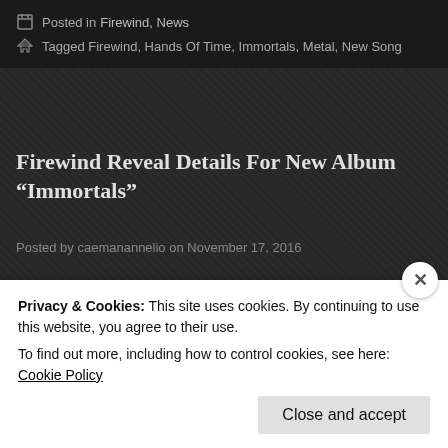Posted in Firewind, News
Tagged Firewind, Hands Of Time, Immortals, Metal, New Song
Firewind Reveal Details For New Album “Immortals”
Posted by caemanannelio on November 17, 2016
Firewind will be releasing their new album “Immortals” on January 20. Check below.
[Figure (photo): Album art showing the word FIREWIND in ornate golden letters against a dark rocky background]
Privacy & Cookies: This site uses cookies. By continuing to use this website, you agree to their use.
To find out more, including how to control cookies, see here: Cookie Policy
Close and accept